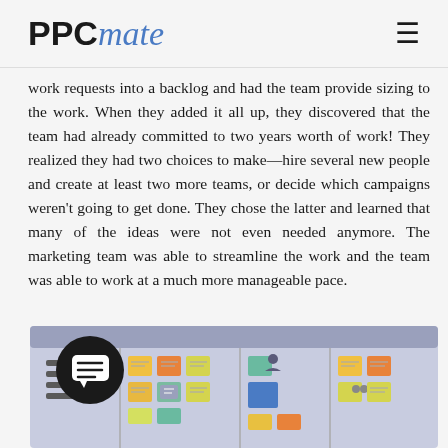PPCmate
work requests into a backlog and had the team provide sizing to the work. When they added it all up, they discovered that the team had already committed to two years worth of work! They realized they had two choices to make—hire several new people and create at least two more teams, or decide which campaigns weren't going to get done. They chose the latter and learned that many of the ideas were not even needed anymore. The marketing team was able to streamline the work and the team was able to work at a much more manageable pace.
[Figure (illustration): Kanban board illustration with sticky notes in multiple columns, with a chat bubble icon overlay in the top left]